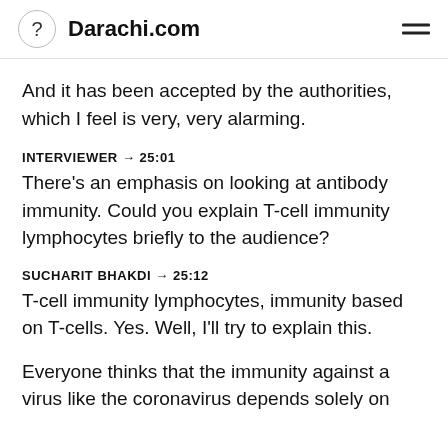? Darachi.com
And it has been accepted by the authorities, which I feel is very, very alarming.
INTERVIEWER → 25:01
There's an emphasis on looking at antibody immunity. Could you explain T-cell immunity lymphocytes briefly to the audience?
SUCHARIT BHAKDI → 25:12
T-cell immunity lymphocytes, immunity based on T-cells. Yes. Well, I'll try to explain this.
Everyone thinks that the immunity against a virus like the coronavirus depends solely on